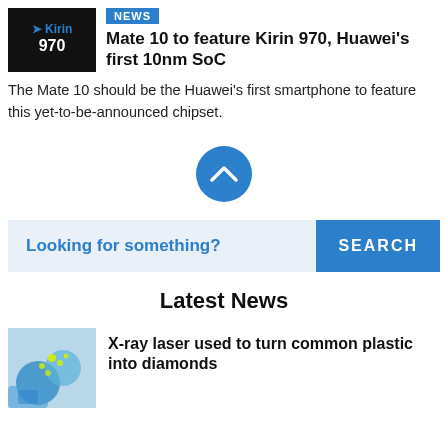[Figure (photo): Dark background image showing Kirin 970 chip badge with blue arrow logo]
NEWS
Mate 10 to feature Kirin 970, Huawei's first 10nm SoC
The Mate 10 should be the Huawei's first smartphone to feature this yet-to-be-announced chipset.
[Figure (illustration): Blue circle scroll-up button with white chevron/caret pointing upward]
Looking for something?
SEARCH
Latest News
[Figure (photo): Illustration of X-ray laser hitting plastic bottles to create diamonds]
X-ray laser used to turn common plastic into diamonds